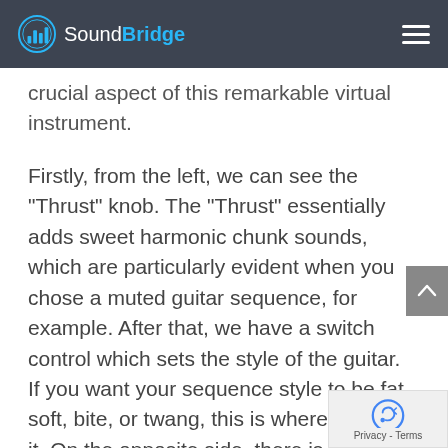SoundBridge
crucial aspect of this remarkable virtual instrument.
Firstly, from the left, we can see the “Thrust” knob. The “Thrust” essentially adds sweet harmonic chunk sounds, which are particularly evident when you chose a muted guitar sequence, for example. After that, we have a switch control which sets the style of the guitar. If you want your sequence style to be fat, soft, bite, or twang, this is where you set it. On the opposite side, there is an amp style switch, ranging from clean and crisp to met